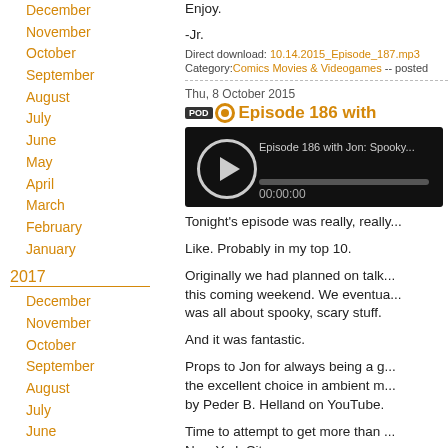December
November
October
September
August
July
June
May
April
March
February
January
2017
December
November
October
September
August
July
June
May
April
March
February
January
2016
Enjoy.
-Jr.
Direct download: 10.14.2015_Episode_187.mp3
Category: Comics Movies & Videogames -- posted
Thu, 8 October 2015
Episode 186 with
[Figure (screenshot): Podcast audio player widget showing Episode 186 with Jon: Spooky... with play button and progress bar at 00:00:00]
Tonight's episode was really, really...
Like. Probably in my top 10.
Originally we had planned on talk... this coming weekend. We eventua... was all about spooky, scary stuff.
And it was fantastic.
Props to Jon for always being a g... the excellent choice in ambient m... by Peder B. Helland on YouTube.
Time to attempt to get more than ... New York City.